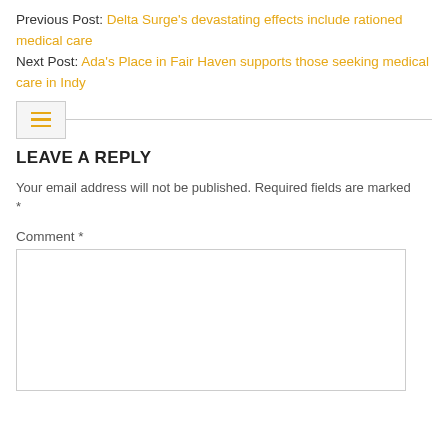Previous Post: Delta Surge's devastating effects include rationed medical care
Next Post: Ada's Place in Fair Haven supports those seeking medical care in Indy
LEAVE A REPLY
Your email address will not be published. Required fields are marked *
Comment *